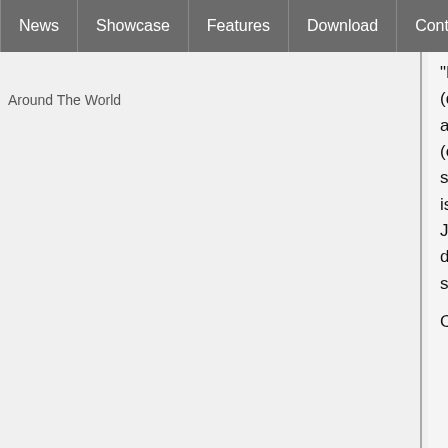News | Showcase | Features | Download | Contribute | Support
Around The World
"Lighting Device <Environment" in "Device Category" Select "Light Switch (dimmable)" in "Device Template" menu and click on "Pick device Template" a new popup appears put in "Port / Channel Number address" X10 module (ex: type A1 for House A and Unit 1) and select its room location before save. Add all modules of the house by clicking on "Add Device". Noted that it is possible to type directly ID in "Do you know the ID of the device template? Just type it below and click Go" (38 in our example then "Go" to avoid the drop-down list of "Device Template", the right profile is automatically selected in "Device Template" then click on "Pick device template."
Configuring AM12 modules: